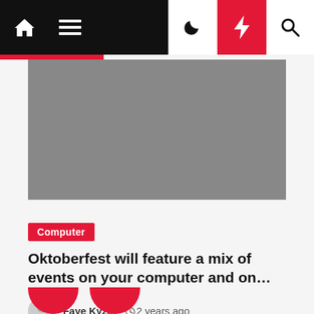Home menu moon bolt search
[Figure (photo): Gray placeholder image for article]
Computer
Oktoberfest will feature a mix of events on your computer and on…
Faye Kyzer  2 years ago